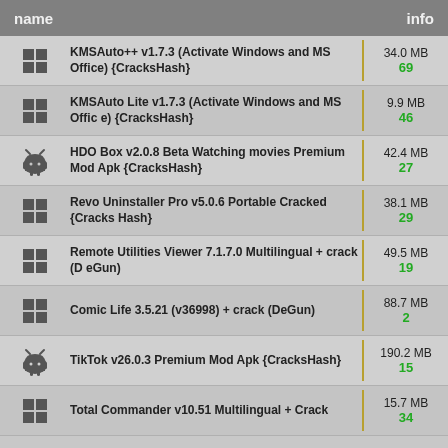name | info
KMSAuto++ v1.7.3 (Activate Windows and MS Office) {CracksHash}
KMSAuto Lite v1.7.3 (Activate Windows and MS Office) {CracksHash}
HDO Box v2.0.8 Beta Watching movies Premium Mod Apk {CracksHash}
Revo Uninstaller Pro v5.0.6 Portable Cracked {CracksHash}
Remote Utilities Viewer 7.1.7.0 Multilingual + crack (DeGun)
Comic Life 3.5.21 (v36998) + crack (DeGun)
TikTok v26.0.3 Premium Mod Apk {CracksHash}
Total Commander v10.51 Multilingual + Crack